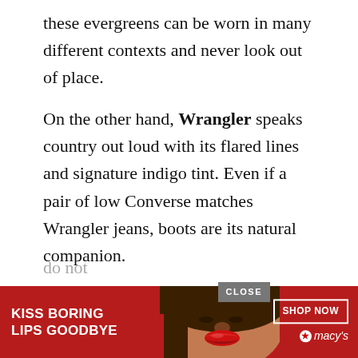these evergreens can be worn in many different contexts and never look out of place.
On the other hand, Wrangler speaks country out loud with its flared lines and signature indigo tint. Even if a pair of low Converse matches Wrangler jeans, boots are its natural companion.
Of the two, in general, Wrangler is the more convenient with everyday models way below $40.
So, we would recommend Wranglers for the price and if you like the lines and types of jeans made by the brand, for example, we particularly love their bootcut jeans.
Alternatively, Levi's is for you if you want a wider choice and
do not
[Figure (other): Advertisement banner: red background with woman's face and lips, text KISS BORING LIPS GOODBYE, SHOP NOW button, Macy's star logo]
CLOSE button overlay on ad